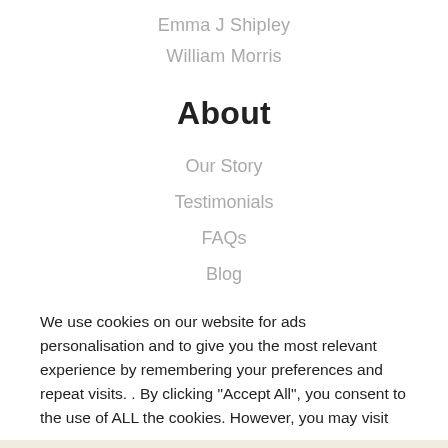Emma J Shipley
William Morris
About
Our Story
Testimonials
FAQs
Blog
We use cookies on our website for ads personalisation and to give you the most relevant experience by remembering your preferences and repeat visits. . By clicking “Accept All”, you consent to the use of ALL the cookies. However, you may visit
We use cookies to ensure that we give you the best experience on our website. If you continue to use this site we will assume that you are happy with it.
Cookie Settings
Ok
Privacy policy